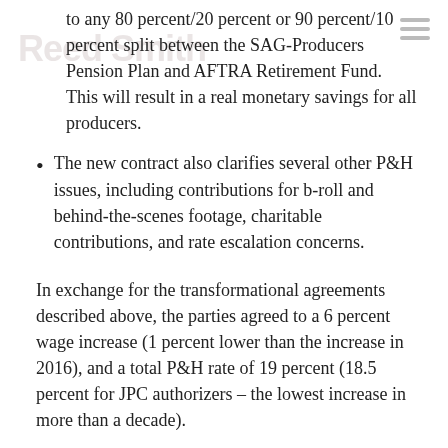to any 80 percent/20 percent or 90 percent/10 percent split between the SAG-Producers Pension Plan and AFTRA Retirement Fund. This will result in a real monetary savings for all producers.
The new contract also clarifies several other P&H issues, including contributions for b-roll and behind-the-scenes footage, charitable contributions, and rate escalation concerns.
In exchange for the transformational agreements described above, the parties agreed to a 6 percent wage increase (1 percent lower than the increase in 2016), and a total P&H rate of 19 percent (18.5 percent for JPC authorizers – the lowest increase in more than a decade).